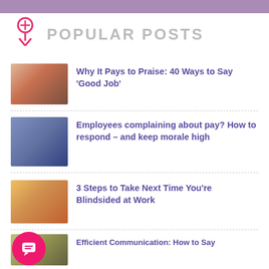POPULAR POSTS
Why It Pays to Praise: 40 Ways to Say 'Good Job'
Employees complaining about pay? How to respond – and keep morale high
3 Steps to Take Next Time You're Blindsided at Work
Happy Women's Equality Day! Do You Know Where Your Next Promotion Is? [Exclusive Infographic]
Efficient Communication: How to Say…